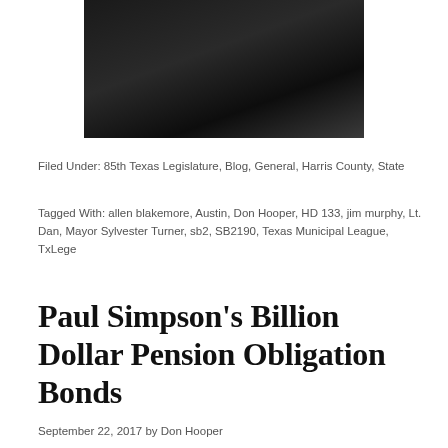[Figure (photo): Dark photograph of a person, mostly black background, cropped at top of page]
Filed Under: 85th Texas Legislature, Blog, General, Harris County, State
Tagged With: allen blakemore, Austin, Don Hooper, HD 133, jim murphy, Lt. Dan, Mayor Sylvester Turner, sb2, SB2190, Texas Municipal League, TxLege
Paul Simpson’s Billion Dollar Pension Obligation Bonds
September 22, 2017 by Don Hooper